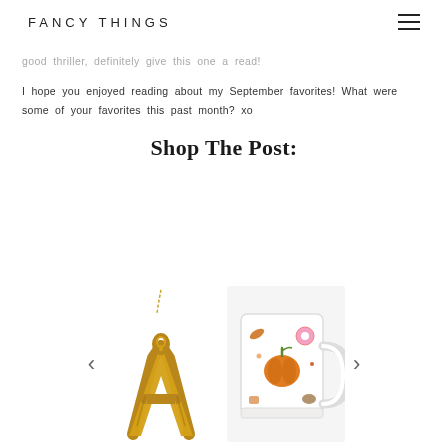FANCY THINGS
good thriller, definitely give this one a read!
I hope you enjoyed reading about my September favorites! What were some of your favorites this past month? xo
Shop The Post:
[Figure (photo): Gold letter A pendant necklace on a gold chain]
[Figure (photo): White mug with autumn/fall themed illustrations including a pumpkin, leaves, and other fall items]